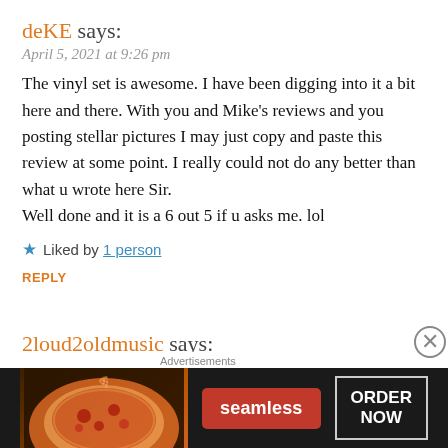deKE says:
April 5, 2021 at 9:26 pm
The vinyl set is awesome. I have been digging into it a bit here and there. With you and Mike's reviews and you posting stellar pictures I may just copy and paste this review at some point. I really could not do any better than what u wrote here Sir.
Well done and it is a 6 out 5 if u asks me. lol
★ Liked by 1 person
REPLY
2loud2oldmusic says:
April 6, 2021 at 10:35 am
I know Aaron will have a review as well. This seems to be a
Advertisements
[Figure (infographic): Seamless food delivery advertisement banner showing pizza image on left, red Seamless logo in center, and ORDER NOW button on right, on dark background.]